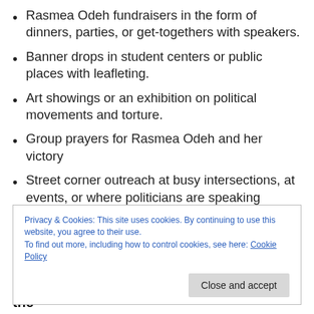Rasmea Odeh fundraisers in the form of dinners, parties, or get-togethers with speakers.
Banner drops in student centers or public places with leafleting.
Art showings or an exhibition on political movements and torture.
Group prayers for Rasmea Odeh and her victory
Street corner outreach at busy intersections, at events, or where politicians are speaking
Privacy & Cookies: This site uses cookies. By continuing to use this website, you agree to their use.
To find out more, including how to control cookies, see here: Cookie Policy
Mobilize to Cincinnati, Ohio in the Fall for the